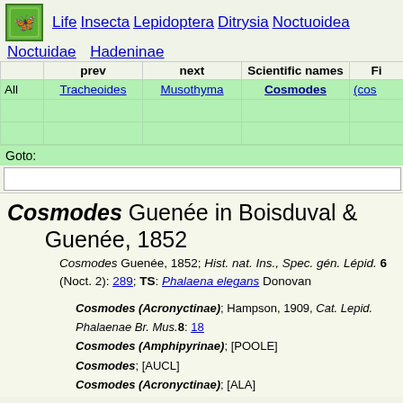Life  Insecta  Lepidoptera  Ditrysia  Noctuoidea  Noctuidae  Hadeninae
|  | prev | next | Scientific names | Fi... |
| --- | --- | --- | --- | --- |
| All | Tracheoides | Musothyma | Cosmodes | (cos... |
|  |  |  |  |  |
|  |  |  |  |  |
Goto:
Cosmodes Guenée in Boisduval & Guenée, 1852
Cosmodes Guenée, 1852; Hist. nat. Ins., Spec. gén. Lépid. 6 (Noct. 2): 289; TS: Phalaena elegans Donovan
Cosmodes (Acronyctinae); Hampson, 1909, Cat. Lepid. Phalaenae Br. Mus.8: 18
Cosmodes (Amphipyrinae); [POOLE]
Cosmodes; [AUCL]
Cosmodes (Acronyctinae); [ALA]
Cosmodes elegans (Donovan, 1805)
Phalaena elegans Donovan,